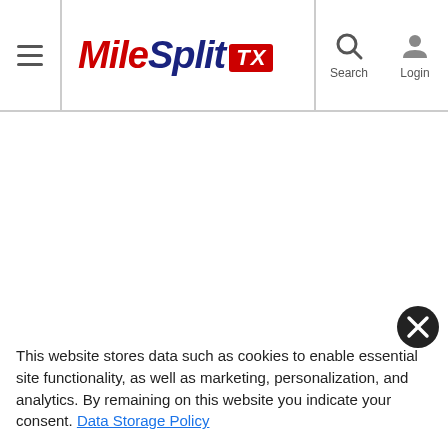[Figure (logo): MileSplit TX logo with hamburger menu, search and login icons in website header]
This website stores data such as cookies to enable essential site functionality, as well as marketing, personalization, and analytics. By remaining on this website you indicate your consent. Data Storage Policy